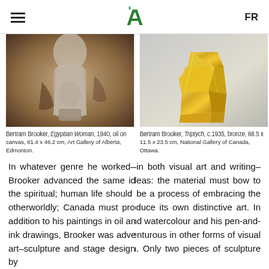≡  A  FR
[Figure (photo): Detail of a figurative painting showing a draped human figure in muted tones, oil on canvas. Bertram Brooker, Egyptian Woman, 1940.]
Bertram Brooker, Egyptian Woman, 1940, oil on canvas, 61.4 x 46.2 cm, Art Gallery of Alberta, Edmonton.
[Figure (photo): A polished gold/bronze abstract sculptural form resembling a throne or architectural shape. Bertram Brooker, Triptych, c.1935.]
Bertram Brooker, Triptych, c.1935, bronze, 68.5 x 11.5 x 23.5 cm, National Gallery of Canada, Ottawa.
In whatever genre he worked–in both visual art and writing–Brooker advanced the same ideas: the material must bow to the spiritual; human life should be a process of embracing the otherworldly; Canada must produce its own distinctive art. In addition to his paintings in oil and watercolour and his pen-and-ink drawings, Brooker was adventurous in other forms of visual art–sculpture and stage design. Only two pieces of sculpture by